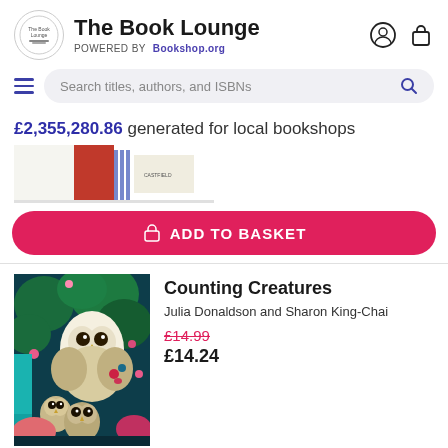The Book Lounge POWERED BY Bookshop.org
Search titles, authors, and ISBNs
£2,355,280.86 generated for local bookshops
[Figure (screenshot): Partial book cover image at top of page]
ADD TO BASKET
[Figure (illustration): Counting Creatures book cover featuring barn owls in colourful forest]
Counting Creatures
Julia Donaldson and Sharon King-Chai
£14.99 £14.24